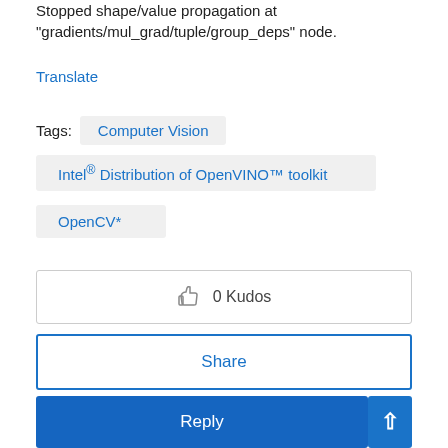Stopped shape/value propagation at "gradients/mul_grad/tuple/group_deps" node.
Translate
Tags:   Computer Vision
Intel® Distribution of OpenVINO™ toolkit
OpenCV*
👍  0 Kudos
Share
Reply